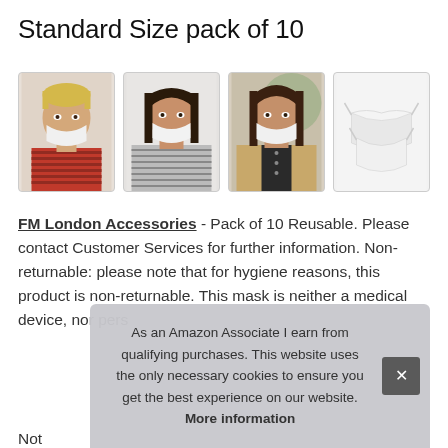Standard Size pack of 10
[Figure (photo): Four product images showing people wearing white face masks and a product shot of masks]
FM London Accessories - Pack of 10 Reusable. Please contact Customer Services for further information. Non-returnable: please note that for hygiene reasons, this product is non-returnable. This mask is neither a medical device, nor pers
As an Amazon Associate I earn from qualifying purchases. This website uses the only necessary cookies to ensure you get the best experience on our website. More information
Not